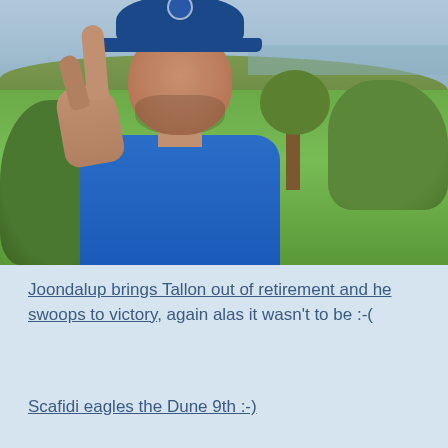[Figure (photo): Selfie of a middle-aged man wearing a blue polo shirt and blue baseball cap, holding up one finger, standing on a golf course with green fairways and vegetation in the background]
Joondalup brings Tallon out of retirement and he swoops to victory, again alas it wasn't to be :-(
Scafidi eagles the Dune 9th :-)